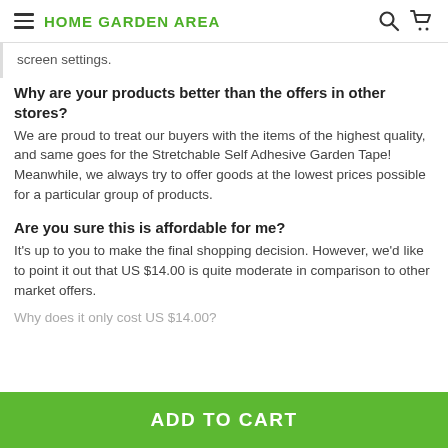HOME GARDEN AREA
screen settings.
Why are your products better than the offers in other stores?
We are proud to treat our buyers with the items of the highest quality, and same goes for the Stretchable Self Adhesive Garden Tape! Meanwhile, we always try to offer goods at the lowest prices possible for a particular group of products.
Are you sure this is affordable for me?
It's up to you to make the final shopping decision. However, we'd like to point it out that US $14.00 is quite moderate in comparison to other market offers.
Why does it only cost US $14.00?
ADD TO CART